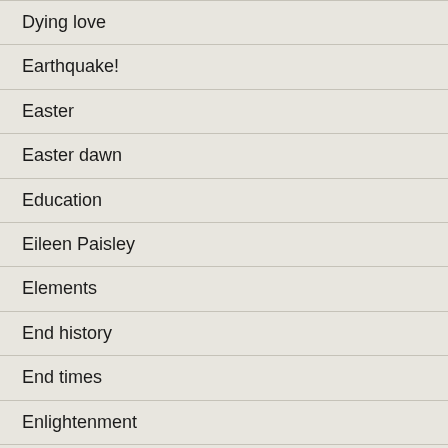Dying love
Earthquake!
Easter
Easter dawn
Education
Eileen Paisley
Elements
End history
End times
Enlightenment
Entering into rest
Equal